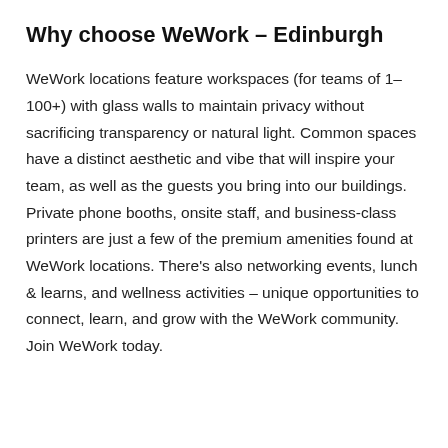Why choose WeWork – Edinburgh
WeWork locations feature workspaces (for teams of 1–100+) with glass walls to maintain privacy without sacrificing transparency or natural light. Common spaces have a distinct aesthetic and vibe that will inspire your team, as well as the guests you bring into our buildings. Private phone booths, onsite staff, and business-class printers are just a few of the premium amenities found at WeWork locations. There's also networking events, lunch & learns, and wellness activities – unique opportunities to connect, learn, and grow with the WeWork community. Join WeWork today.